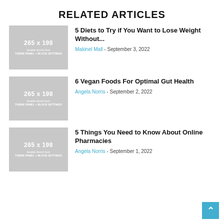RELATED ARTICLES
[Figure (other): Thumbnail placeholder 265x198 with text 'Enable thumb from THEME PANEL + BLOCK SETTINGS']
5 Diets to Try if You Want to Lose Weight Without...
Makinel Mall - September 3, 2022
[Figure (other): Thumbnail placeholder 265x198 with text 'Enable thumb from THEME PANEL + BLOCK SETTINGS']
6 Vegan Foods For Optimal Gut Health
Angela Norris - September 2, 2022
[Figure (other): Thumbnail placeholder 265x198 with text 'Enable thumb from THEME PANEL + BLOCK SETTINGS']
5 Things You Need to Know About Online Pharmacies
Angela Norris - September 1, 2022